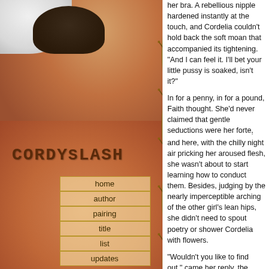[Figure (illustration): Left panel showing a woman's bare back and shoulder with a white hat, dark hair, warm orange-brown skin tones, thorny vine decoration on the right edge, site title 'CORDYSLASH' overlaid, and navigation menu items: home, author, pairing, title, list, updates]
her bra. A rebellious nipple hardened instantly at the touch, and Cordelia couldn't hold back the soft moan that accompanied its tightening. "And I can feel it. I'll bet your little pussy is soaked, isn't it?"
In for a penny, in for a pound, Faith thought. She'd never claimed that gentle seductions were her forte, and here, with the chilly night air pricking her aroused flesh, she wasn't about to start learning how to conduct them. Besides, judging by the nearly imperceptible arching of the other girl's lean hips, she didn't need to spout poetry or shower Cordelia with flowers.
"Wouldn't you like to find out," came her reply, the words pushing past a nearly unresponsive throat after long minutes.
Cordelia wasn't worried